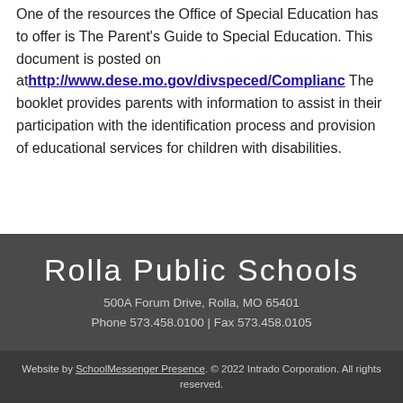One of the resources the Office of Special Education has to offer is The Parent's Guide to Special Education. This document is posted on at http://www.dese.mo.gov/divspeced/Complianc The booklet provides parents with information to assist in their participation with the identification process and provision of educational services for children with disabilities.
Rolla Public Schools
500A Forum Drive, Rolla, MO 65401
Phone 573.458.0100 | Fax 573.458.0105
Website by SchoolMessenger Presence. © 2022 Intrado Corporation. All rights reserved.